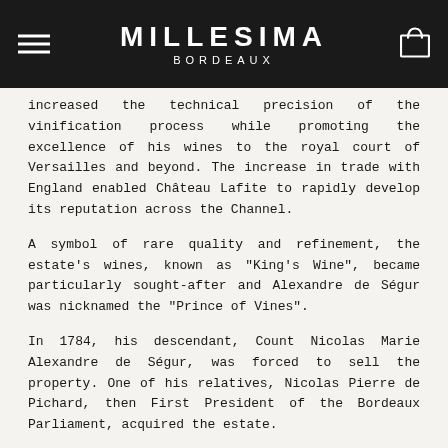MILLESIMA BORDEAUX
increased the technical precision of the vinification process while promoting the excellence of his wines to the royal court of Versailles and beyond. The increase in trade with England enabled Château Lafite to rapidly develop its reputation across the Channel.
A symbol of rare quality and refinement, the estate's wines, known as "King's Wine", became particularly sought-after and Alexandre de Ségur was nicknamed the "Prince of Vines".
In 1784, his descendant, Count Nicolas Marie Alexandre de Ségur, was forced to sell the property. One of his relatives, Nicolas Pierre de Pichard, then First President of the Bordeaux Parliament, acquired the estate.
A major expansion across the Atlantic
The 18th century was a time of great expansion for the estate, particularly across the Atlantic, thanks to the laudatory writings of Thomas Jefferson. As the United States ambassador to France at the Court of Versailles and future President of the United States, Jefferson...